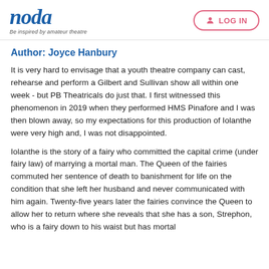noda — Be inspired by amateur theatre | LOG IN
Author: Joyce Hanbury
It is very hard to envisage that a youth theatre company can cast, rehearse and perform a Gilbert and Sullivan show all within one week - but PB Theatricals do just that. I first witnessed this phenomenon in 2019 when they performed HMS Pinafore and I was then blown away, so my expectations for this production of Iolanthe were very high and, I was not disappointed.
Iolanthe is the story of a fairy who committed the capital crime (under fairy law) of marrying a mortal man. The Queen of the fairies commuted her sentence of death to banishment for life on the condition that she left her husband and never communicated with him again. Twenty-five years later the fairies convince the Queen to allow her to return where she reveals that she has a son, Strephon, who is a fairy down to his waist but has mortal